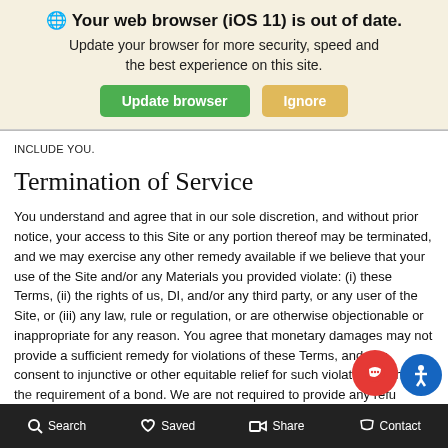[Figure (screenshot): Browser update warning banner with globe icon, bold title 'Your web browser (iOS 11) is out of date.', subtitle 'Update your browser for more security, speed and the best experience on this site.', and two buttons: green 'Update browser' and tan 'Ignore']
INCLUDE YOU.
Termination of Service
You understand and agree that in our sole discretion, and without prior notice, your access to this Site or any portion thereof may be terminated, and we may exercise any other remedy available if we believe that your use of the Site and/or any Materials you provided violate: (i) these Terms, (ii) the rights of us, DI, and/or any third party, or any user of the Site, or (iii) any law, rule or regulation, or are otherwise objectionable or inappropriate for any reason. You agree that monetary damages may not provide a sufficient remedy for violations of these Terms, and you consent to injunctive or other equitable relief for such violations without the requirement of a bond. We are not required to provide any refu
Search   Saved   Share   Contact